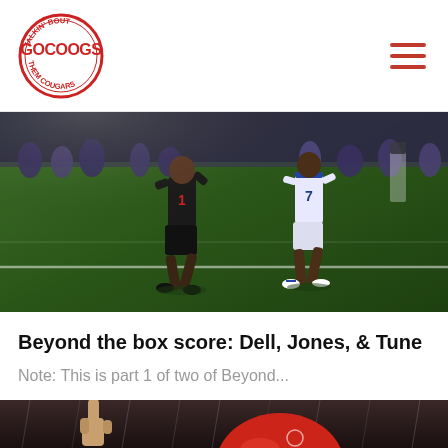[Figure (logo): GoCOOGS circular logo - Talkin Bout Them Cougars, red circle with GOCOOGS text]
[Figure (photo): Football players on field at night - player in black uniform #1 and player in white uniform #7 running on green turf]
Beyond the box score: Dell, Jones, & Tune
Note: This is part 1 of two of Beyond...
[Figure (photo): Football player in red UH helmet with hand raised index finger up, rain visible, partial view]